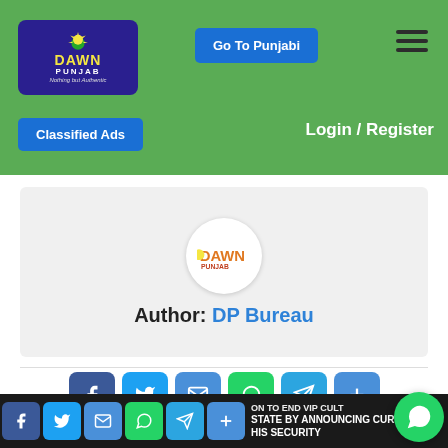[Figure (screenshot): Dawn Punjab website header with logo, Go To Punjabi button, hamburger menu, Classified Ads button, Login/Register link]
[Figure (illustration): Author profile section showing Dawn Punjab circular logo avatar and text 'Author: DP Bureau']
Author: DP Bureau
[Figure (infographic): Social share buttons: Facebook, Twitter, Email, WhatsApp, Telegram, Share Plus]
Previous Post
STATE BY ANNOUNCING CURTAIL IN HIS SECURITY
[Figure (infographic): Bottom social share bar with Facebook, Twitter, Email, WhatsApp, Telegram, Plus icons and headline text partial]
[Figure (infographic): WhatsApp floating button bottom right]